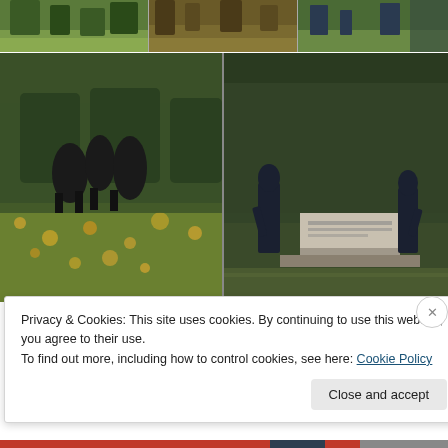[Figure (photo): Three outdoor photos showing autumn park scenes with grass, trees and fallen leaves in a top row grid]
[Figure (photo): Two outdoor photos showing dark metal sculptures/silhouettes in an autumn park setting - left shows animal-like figures on grass with fallen leaves, right shows human silhouette sculptures near a memorial with hedges]
Advertisements
[Figure (screenshot): WordPress Hosting advertisement banner with dark navy background showing 'WORDPRESS HOSTING THAT MEANS BUSINESS' text and an OPEN sign image on the right]
Privacy & Cookies: This site uses cookies. By continuing to use this website, you agree to their use.
To find out more, including how to control cookies, see here: Cookie Policy
Close and accept